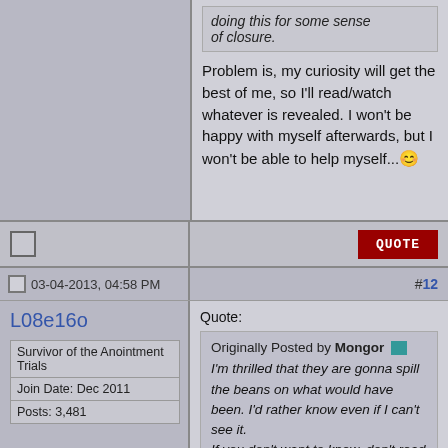doing this for some sense of closure.
Problem is, my curiosity will get the best of me, so I'll read/watch whatever is revealed. I won't be happy with myself afterwards, but I won't be able to help myself...
03-04-2013, 04:58 PM
#12
L08e16o
Survivor of the Anointment Trials
Join Date: Dec 2011
Posts: 3,481
Quote:
Originally Posted by Mongor
I'm thrilled that they are gonna spill the beans on what would have been. I'd rather know even if I can't see it.
If you don't want to know, don't read it or watch the